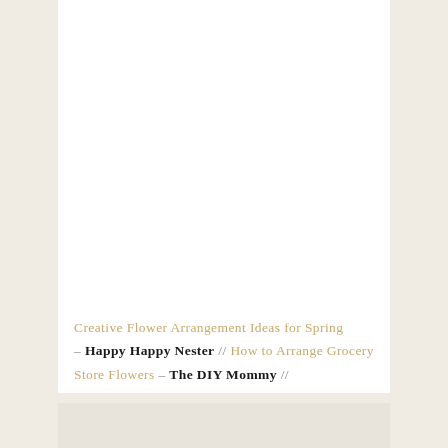[Figure (photo): Large white area representing a floral arrangement photo (mostly white/blank in this crop)]
Creative Flower Arrangement Ideas for Spring – Happy Happy Nester // How to Arrange Grocery Store Flowers – The DIY Mommy // Grocery Store Roses Spring Arrangement – Craftberry Bush // DIY Easy Tulip Arrangement – A Blue Nest
[Figure (photo): Bottom strip showing partial thumbnail images of flower arrangements]